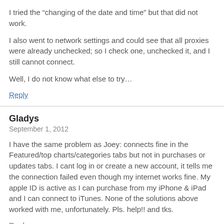I tried the “changing of the date and time” but that did not work.
I also went to network settings and could see that all proxies were already unchecked; so I check one, unchecked it, and I still cannot connect.
Well, I do not know what else to try…
Reply
Gladys
September 1, 2012
I have the same problem as Joey: connects fine in the Featured/top charts/categories tabs but not in purchases or updates tabs. I cant log in or create a new account, it tells me the connection failed even though my internet works fine. My apple ID is active as I can purchase from my iPhone & iPad and I can connect to iTunes. None of the solutions above worked with me, unfortunately. Pls. help!! and tks.
Reply
Steffane R